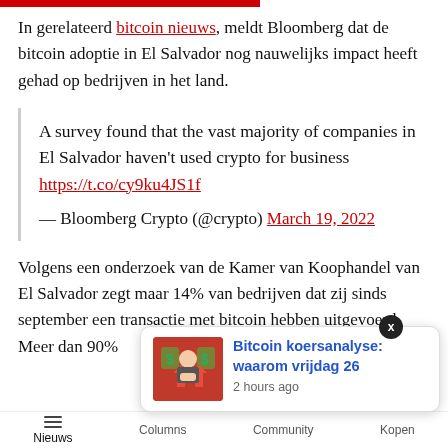In gerelateerd bitcoin nieuws, meldt Bloomberg dat de bitcoin adoptie in El Salvador nog nauwelijks impact heeft gehad op bedrijven in het land.
A survey found that the vast majority of companies in El Salvador haven't used crypto for business https://t.co/cy9ku4JS1f
— Bloomberg Crypto (@crypto) March 19, 2022
Volgens een onderzoek van de Kamer van Koophandel van El Salvador zegt maar 14% van bedrijven dat zij sinds september een transactie met bitcoin hebben uitgevoerd. Meer dan 90%
Bitcoin koersanalyse: waarom vrijdag 26
2 hours ago
Nieuws   Columns   Community   Kopen